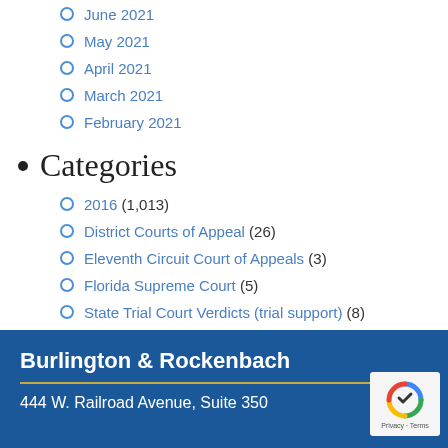June 2021
May 2021
April 2021
March 2021
February 2021
Categories
2016 (1,013)
District Courts of Appeal (26)
Eleventh Circuit Court of Appeals (3)
Florida Supreme Court (5)
State Trial Court Verdicts (trial support) (8)
United States Supreme Court (3)
Burlington & Rockenbach
444 W. Railroad Avenue, Suite 350